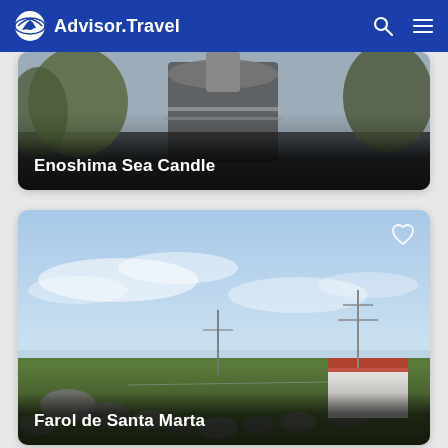Advisor.Travel
[Figure (photo): Photo of Enoshima Sea Candle tower structure with trees]
Enoshima Sea Candle
[Figure (photo): Outdoor coastal landscape photo of Farol de Santa Marta lighthouse area with green grass, rocks, and blue sky]
Farol de Santa Marta